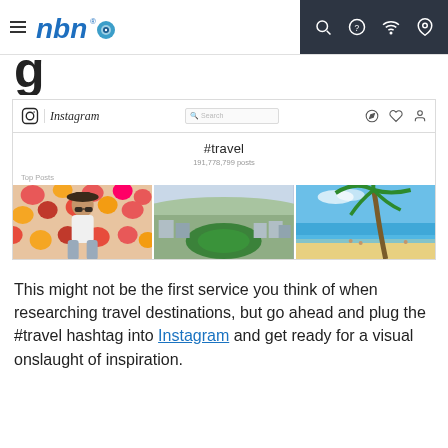nbn (logo with hamburger menu and nav icons)
g
[Figure (screenshot): Instagram page showing #travel hashtag with 191,778,799 posts and three top post photos: a woman in front of flowers, an aerial city view, and a tropical beach with palm tree]
This might not be the first service you think of when researching travel destinations, but go ahead and plug the #travel hashtag into Instagram and get ready for a visual onslaught of inspiration.